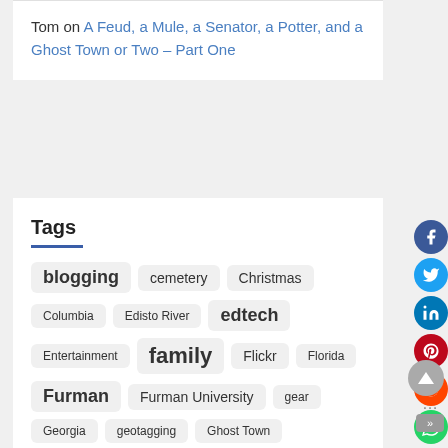Tom on A Feud, a Mule, a Senator, a Potter, and a Ghost Town or Two – Part One
Tags
blogging
cemetery
Christmas
Columbia
Edisto River
edtech
Entertainment
family
Flickr
Florida
Furman
Furman University
gear
Georgia
geotagging
Ghost Town
Ghost Towns
Google Earth